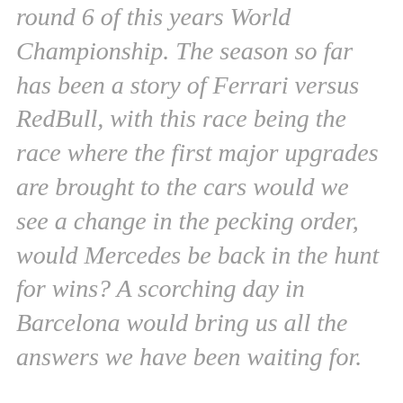round 6 of this years World Championship. The season so far has been a story of Ferrari versus RedBull, with this race being the race where the first major upgrades are brought to the cars would we see a change in the pecking order, would Mercedes be back in the hunt for wins? A scorching day in Barcelona would bring us all the answers we have been waiting for.
The front row had Leclerc and Verstappen again and could deliver us a titanic battle into turn one. Strategy would be key in the hot weather and whoever looks after their